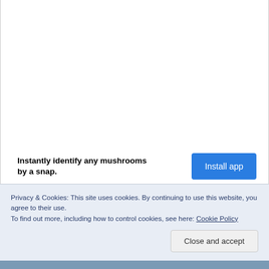[Figure (other): White empty content area with left and right border lines, representing a webpage content region above an advertisement banner.]
Instantly identify any mushrooms by a snap.
Install app
Privacy & Cookies: This site uses cookies. By continuing to use this website, you agree to their use.
To find out more, including how to control cookies, see here: Cookie Policy
Close and accept